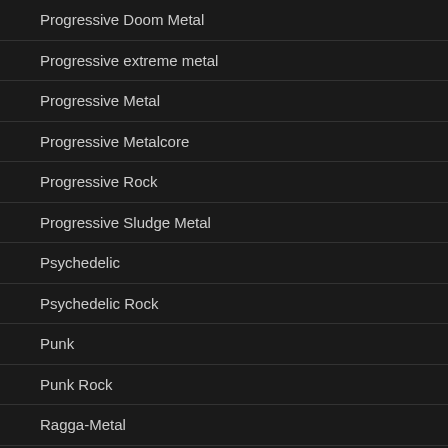Progressive Doom Metal
Progressive extreme metal
Progressive Metal
Progressive Metalcore
Progressive Rock
Progressive Sludge Metal
Psychedelic
Psychedelic Rock
Punk
Punk Rock
Ragga-Metal
Rap Metal
Rap Rock